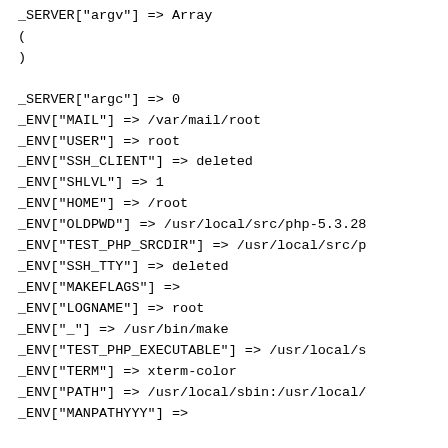_SERVER["argv"] => Array
(
)

_SERVER["argc"] => 0
_ENV["MAIL"] => /var/mail/root
_ENV["USER"] => root
_ENV["SSH_CLIENT"] => deleted
_ENV["SHLVL"] => 1
_ENV["HOME"] => /root
_ENV["OLDPWD"] => /usr/local/src/php-5.3.28
_ENV["TEST_PHP_SRCDIR"] => /usr/local/src/p
_ENV["SSH_TTY"] => deleted
_ENV["MAKEFLAGS"] =>
_ENV["LOGNAME"] => root
_ENV["_"] => /usr/bin/make
_ENV["TEST_PHP_EXECUTABLE"] => /usr/local/s
_ENV["TERM"] => xterm-color
_ENV["PATH"] => /usr/local/sbin:/usr/local/
_ENV["MANPATHYYY"] =>